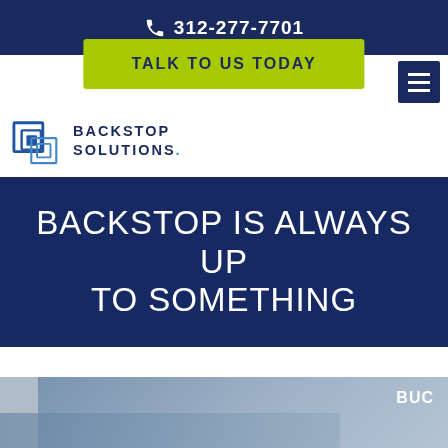312-277-7701
TALK TO US TODAY
[Figure (logo): Backstop Solutions logo with interlocking blue squares icon and company name text]
BACKSTOP IS ALWAYS UP TO SOMETHING
BUC